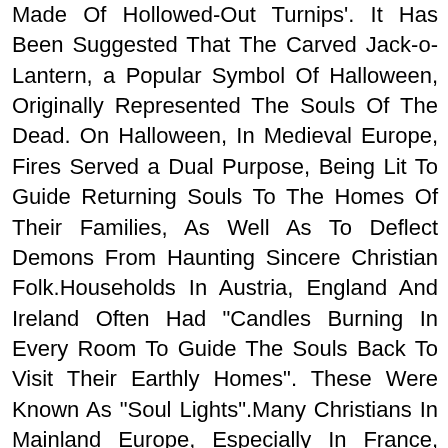Made Of Hollowed-Out Turnips'. It Has Been Suggested That The Carved Jack-o-Lantern, a Popular Symbol Of Halloween, Originally Represented The Souls Of The Dead. On Halloween, In Medieval Europe, Fires Served a Dual Purpose, Being Lit To Guide Returning Souls To The Homes Of Their Families, As Well As To Deflect Demons From Haunting Sincere Christian Folk.Households In Austria, England And Ireland Often Had "Candles Burning In Every Room To Guide The Souls Back To Visit Their Earthly Homes". These Were Known As "Soul Lights".Many Christians In Mainland Europe, Especially In France, Believed "That Once a Year, On HalloweEn, The Dead Of The Churchyards Rose For One Wild, Hideous Carnival" Known As The Danse Macabre, Which Has Often Been Depicted In Church Decoration. Christopher Allmand And Rosamond Mckitterick Write In The New Cambridge Medieval History That "Christians Were Moved By The Sight Of The